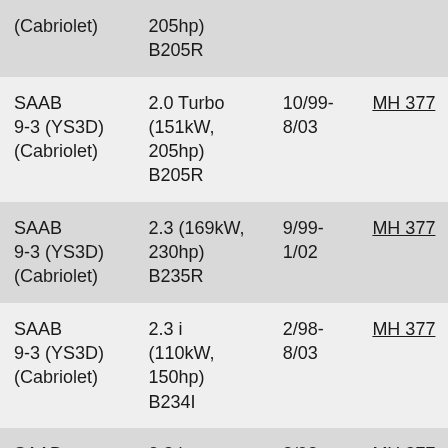| Model | Engine | Date Range | Ref |
| --- | --- | --- | --- |
| (Cabriolet) | 205hp)
B205R |  |  |
| SAAB 9-3 (YS3D) (Cabriolet) | 2.0 Turbo (151kW, 205hp) B205R | 10/99-8/03 | MH 377 |
| SAAB 9-3 (YS3D) (Cabriolet) | 2.3 (169kW, 230hp) B235R | 9/99-1/02 | MH 377 |
| SAAB 9-3 (YS3D) (Cabriolet) | 2.3 i (110kW, 150hp) B234I | 2/98-8/03 | MH 377 |
| SAAB 9-3 (YS3D) | 2.3 i (110kW, | 2/98-8/03 | MH 377 |